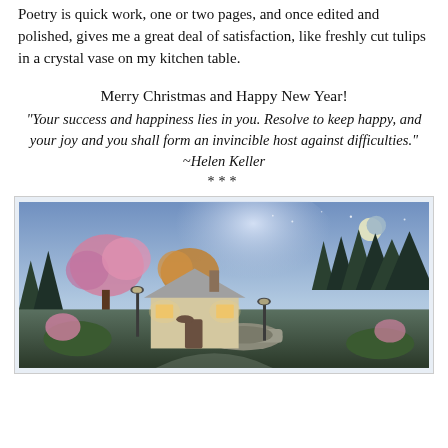Poetry is quick work, one or two pages, and once edited and polished, gives me a great deal of satisfaction, like freshly cut tulips in a crystal vase on my kitchen table.
Merry Christmas and Happy New Year!
“Your success and happiness lies in you. Resolve to keep happy, and your joy and you shall form an invincible host against difficulties.”
~Helen Keller
***
[Figure (illustration): A picturesque Christmas cottage scene at night with glowing windows, surrounded by colorful flowering trees, tall evergreens, a stone bridge, and a crescent moon in the misty blue sky. Fantasy-style painting reminiscent of Thomas Kinkade.]